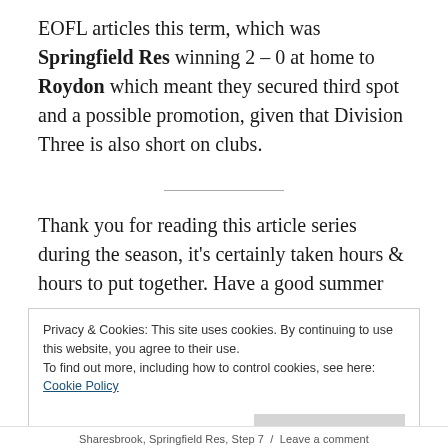EOFL articles this term, which was Springfield Res winning 2 – 0 at home to Roydon which meant they secured third spot and a possible promotion, given that Division Three is also short on clubs.
Thank you for reading this article series during the season, it's certainly taken hours & hours to put together. Have a good summer everyone.
Privacy & Cookies: This site uses cookies. By continuing to use this website, you agree to their use.
To find out more, including how to control cookies, see here:
Cookie Policy
Sharesbrook, Springfield Res, Step 7 / Leave a comment